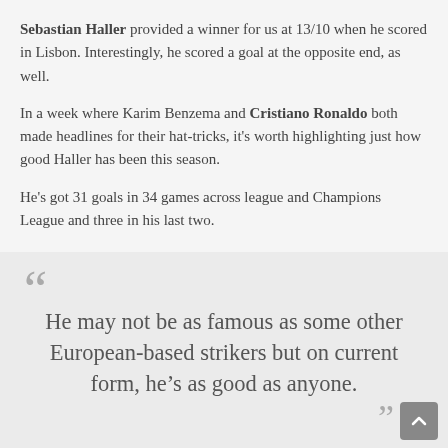Sebastian Haller provided a winner for us at 13/10 when he scored in Lisbon. Interestingly, he scored a goal at the opposite end, as well.
In a week where Karim Benzema and Cristiano Ronaldo both made headlines for their hat-tricks, it's worth highlighting just how good Haller has been this season.
He's got 31 goals in 34 games across league and Champions League and three in his last two.
He may not be as famous as some other European-based strikers but on current form, he's as good as anyone.